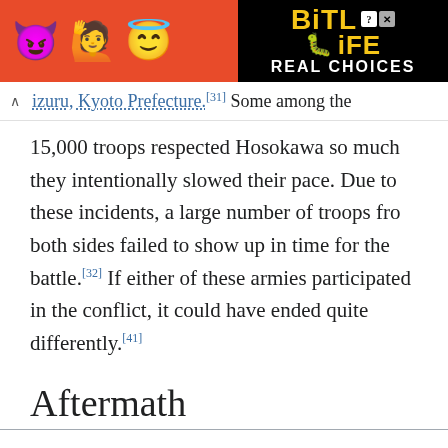[Figure (screenshot): BitLife mobile app advertisement banner with emoji characters on red background and black panel with yellow BitLife logo and REAL CHOICES text]
izuru, Kyoto Prefecture.[31] Some among the 15,000 troops respected Hosokawa so much they intentionally slowed their pace. Due to these incidents, a large number of troops from both sides failed to show up in time for the battle.[32] If either of these armies participated in the conflict, it could have ended quite differently.[41]
Aftermath